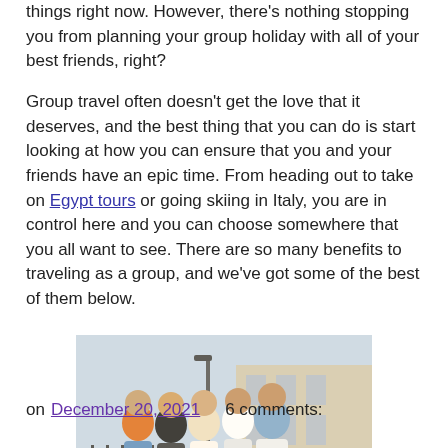things right now. However, there's nothing stopping you from planning your group holiday with all of your best friends, right?
Group travel often doesn't get the love that it deserves, and the best thing that you can do is start looking at how you can ensure that you and your friends have an epic time. From heading out to take on Egypt tours or going skiing in Italy, you are in control here and you can choose somewhere that you all want to see. There are so many benefits to traveling as a group, and we've got some of the best of them below.
[Figure (photo): Group of five young people (four women and one man) standing outdoors near a waterfront, smiling and looking at a tablet device. Sunny day, European city background.]
Image Source: Pexels
on December 20, 2021   6 comments: